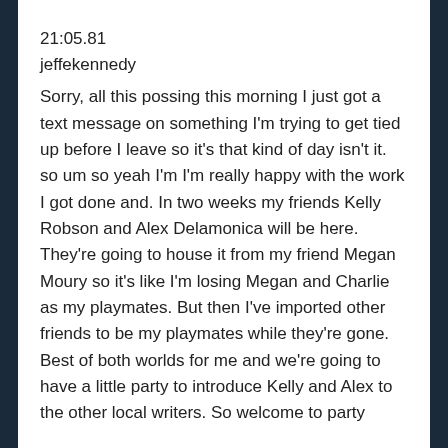21:05.81
jeffekennedy
Sorry, all this possing this morning I just got a text message on something I'm trying to get tied up before I leave so it's that kind of day isn't it. so um so yeah I'm I'm really happy with the work I got done and. In two weeks my friends Kelly Robson and Alex Delamonica will be here. They're going to house it from my friend Megan Moury so it's like I'm losing Megan and Charlie as my playmates. But then I've imported other friends to be my playmates while they're gone. Best of both worlds for me and we're going to have a little party to introduce Kelly and Alex to the other local writers. So welcome to party